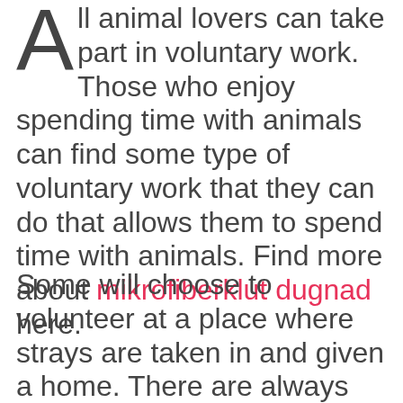All animal lovers can take part in voluntary work. Those who enjoy spending time with animals can find some type of voluntary work that they can do that allows them to spend time with animals. Find more about mikrofiberklut dugnad here.
Some will choose to volunteer at a place where strays are taken in and given a home. There are always opportunities for a person to play with those dogs and cats that do not have